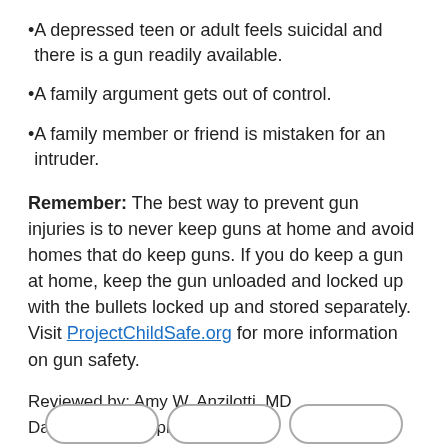A depressed teen or adult feels suicidal and there is a gun readily available.
A family argument gets out of control.
A family member or friend is mistaken for an intruder.
Remember: The best way to prevent gun injuries is to never keep guns at home and avoid homes that do keep guns. If you do keep a gun at home, keep the gun unloaded and locked up with the bullets locked up and stored separately. Visit ProjectChildSafe.org for more information on gun safety.
Reviewed by: Amy W. Anzilotti, MD
Date reviewed: April 2021